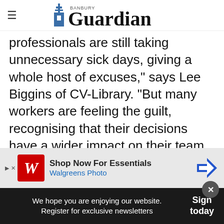Banbury Guardian
professionals are still taking unnecessary sick days, giving a whole host of excuses,” says Lee Biggins of CV-Library. “But many workers are feeling the guilt, recognising that their decisions have a wider impact on their team and workload.”
The top reason for workers calling in ‘sick’ was because they were too tired (43.4 per cent), with t[he figure being higher] amongst 18-24 year olds and 65.2 per cent amongst 55
[Figure (screenshot): Walgreens Photo advertisement banner: Shop Now For Essentials]
We hope you are enjoying our website. Register for exclusive newsletters | Sign today